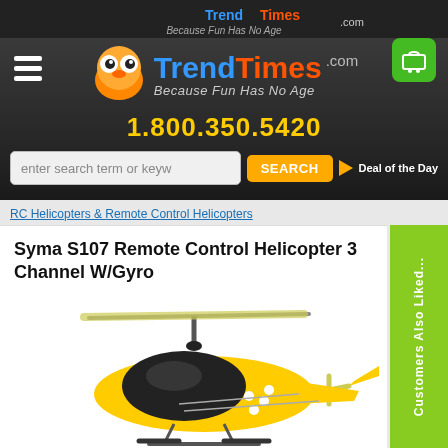[Figure (screenshot): TrendTimes.com website header with logo, mascot character, phone number 1.800.350.5420, search bar, and navigation elements]
RC Helicopters & Remote Control Helicopters
Syma S107 Remote Control Helicopter 3 Channel W/Gyro
[Figure (photo): Yellow Syma S107 remote control helicopter with rotor blades, displayed on white background]
Customers Also Liked...